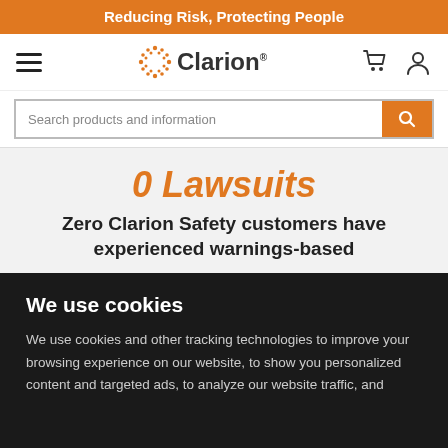Reducing Risk, Protecting People
[Figure (logo): Clarion Safety logo with orange asterisk/starburst icon and 'Clarion' text, plus hamburger menu, cart icon, and user icon in navigation bar]
Search products and information
0 Lawsuits
Zero Clarion Safety customers have experienced warnings-based
We use cookies
We use cookies and other tracking technologies to improve your browsing experience on our website, to show you personalized content and targeted ads, to analyze our website traffic, and